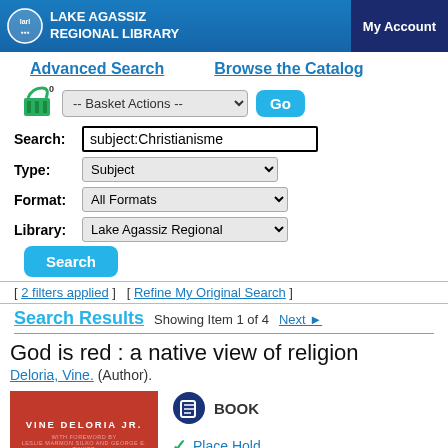Lake Agassiz Regional Library — My Account
Advanced Search   Browse the Catalog
-- Basket Actions --   Go
Search: subject:Christianisme
Type: Subject
Format: All Formats
Library: Lake Agassiz Regional
Search
[ 2 filters applied ]   [ Refine My Original Search ]
Search Results   Showing Item 1 of 4   Next ►
God is red : a native view of religion
Deloria, Vine. (Author).
[Figure (photo): Red book cover for 'God is Red' by Vine Deloria Jr. with foreword text]
BOOK
Place Hold